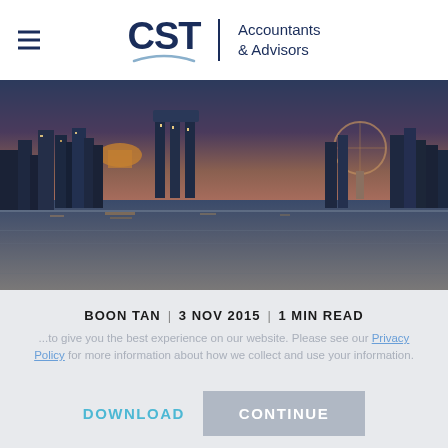CST Accountants & Advisors
[Figure (photo): Panoramic night cityscape of Singapore skyline reflected on water, showing Marina Bay Sands, ArtScience Museum, Singapore Flyer, and city lights at dusk]
BOON TAN | 3 NOV 2015 | 1 MIN READ
...to give you the best experience on our website. Please see our Privacy Policy for more information about how we collect and use your information.
DOWNLOAD
CONTINUE